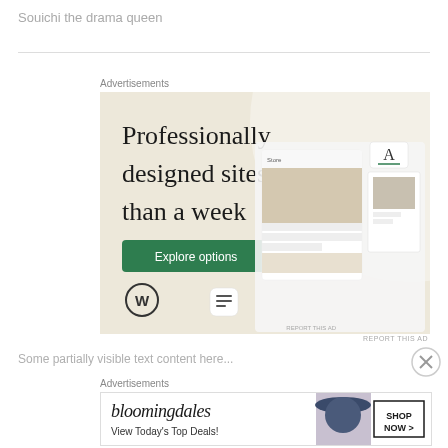Souichi the drama queen
Advertisements
[Figure (screenshot): WordPress.com advertisement: 'Professionally designed sites in less than a week' with green Explore options button, WordPress logo, and website screenshot mockups on beige background]
REPORT THIS AD
Partially visible text line at bottom
Advertisements
[Figure (screenshot): Bloomingdale's advertisement: 'bloomingdales View Today's Top Deals!' with SHOP NOW > button and woman wearing large hat]